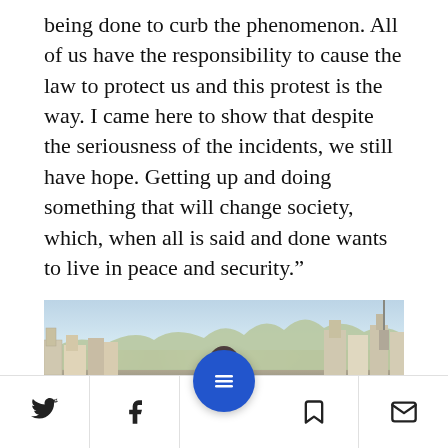being done to curb the phenomenon. All of us have the responsibility to cause the law to protect us and this protest is the way. I came here to show that despite the seriousness of the incidents, we still have hope. Getting up and doing something that will change society, which, when all is said and done wants to live in peace and security.”
[Figure (photo): Outdoor cityscape photo showing a man in the foreground with buildings and hillside urban landscape in the background under a light sky.]